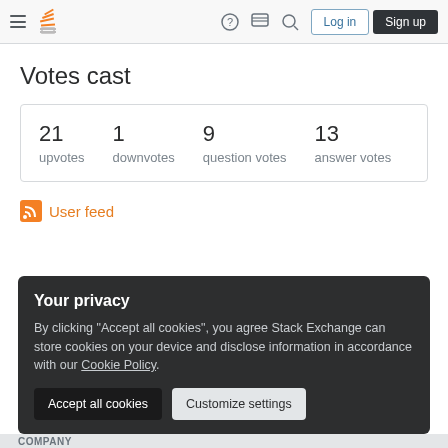Stack Overflow navigation bar with Log in and Sign up buttons
Votes cast
| 21 upvotes | 1 downvotes | 9 question votes | 13 answer votes |
| --- | --- | --- | --- |
User feed
Your privacy
By clicking "Accept all cookies", you agree Stack Exchange can store cookies on your device and disclose information in accordance with our Cookie Policy.
Accept all cookies | Customize settings
COMPANY